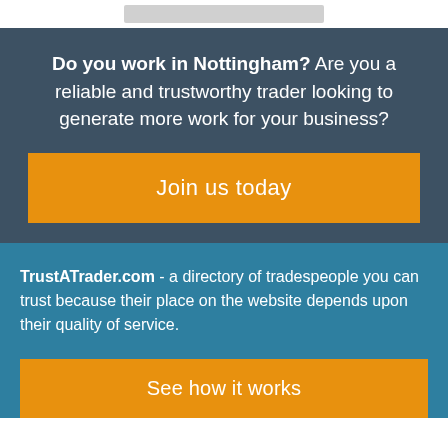Do you work in Nottingham? Are you a reliable and trustworthy trader looking to generate more work for your business?
Join us today
TrustATrader.com - a directory of tradespeople you can trust because their place on the website depends upon their quality of service.
See how it works